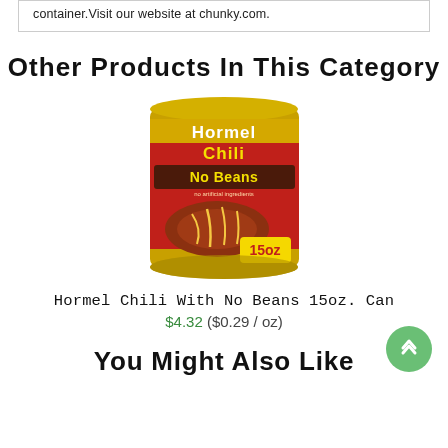container.Visit our website at chunky.com.
Other Products In This Category
[Figure (photo): Hormel Chili With No Beans 15oz can product image]
Hormel Chili With No Beans 15oz. Can
$4.32 ($0.29 / oz)
You Might Also Like